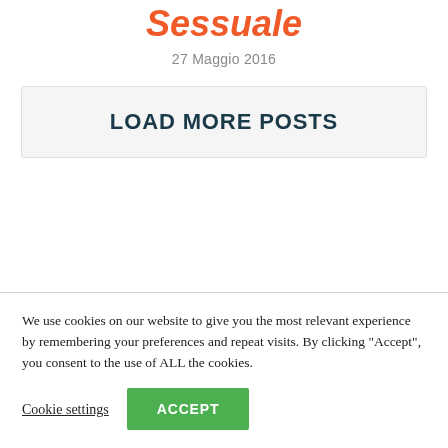Sessuale
27 Maggio 2016
LOAD MORE POSTS
We use cookies on our website to give you the most relevant experience by remembering your preferences and repeat visits. By clicking “Accept”, you consent to the use of ALL the cookies.
Cookie settings
ACCEPT